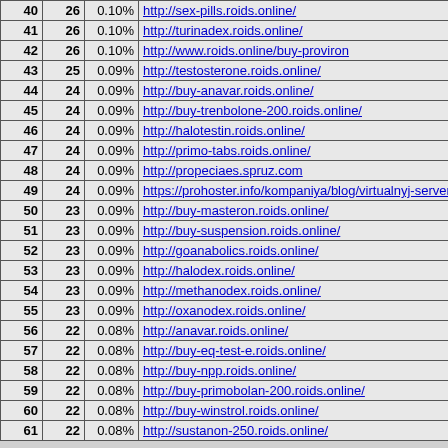| # | Count | Pct | URL |
| --- | --- | --- | --- |
| 40 | 26 | 0.10% | http://sex-pills.roids.online/ |
| 41 | 26 | 0.10% | http://turinadex.roids.online/ |
| 42 | 26 | 0.10% | http://www.roids.online/buy-proviron |
| 43 | 25 | 0.09% | http://testosterone.roids.online/ |
| 44 | 24 | 0.09% | http://buy-anavar.roids.online/ |
| 45 | 24 | 0.09% | http://buy-trenbolone-200.roids.online/ |
| 46 | 24 | 0.09% | http://halotestin.roids.online/ |
| 47 | 24 | 0.09% | http://primo-tabs.roids.online/ |
| 48 | 24 | 0.09% | http://propeciaes.spruz.com |
| 49 | 24 | 0.09% | https://prohoster.info/kompaniya/blog/virtualnyj-server-vse-o-nem- |
| 50 | 23 | 0.09% | http://buy-masteron.roids.online/ |
| 51 | 23 | 0.09% | http://buy-suspension.roids.online/ |
| 52 | 23 | 0.09% | http://goanabolics.roids.online/ |
| 53 | 23 | 0.09% | http://halodex.roids.online/ |
| 54 | 23 | 0.09% | http://methanodex.roids.online/ |
| 55 | 23 | 0.09% | http://oxanodex.roids.online/ |
| 56 | 22 | 0.08% | http://anavar.roids.online/ |
| 57 | 22 | 0.08% | http://buy-eq-test-e.roids.online/ |
| 58 | 22 | 0.08% | http://buy-npp.roids.online/ |
| 59 | 22 | 0.08% | http://buy-primobolan-200.roids.online/ |
| 60 | 22 | 0.08% | http://buy-winstrol.roids.online/ |
| 61 | 22 | 0.08% | http://sustanon-250.roids.online/ |